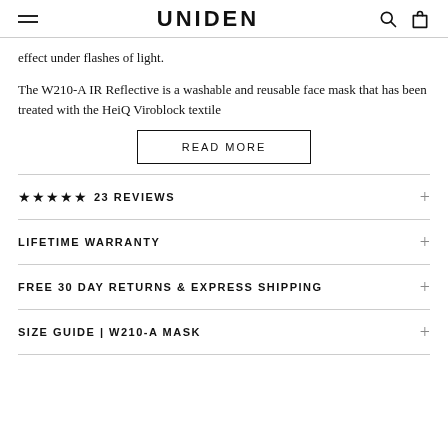UNIDEN
effect under flashes of light.
The W210-A IR Reflective is a washable and reusable face mask that has been treated with the HeiQ Viroblock textile
READ MORE
★★★★★ 23 REVIEWS
LIFETIME WARRANTY
FREE 30 DAY RETURNS & EXPRESS SHIPPING
SIZE GUIDE | W210-A MASK